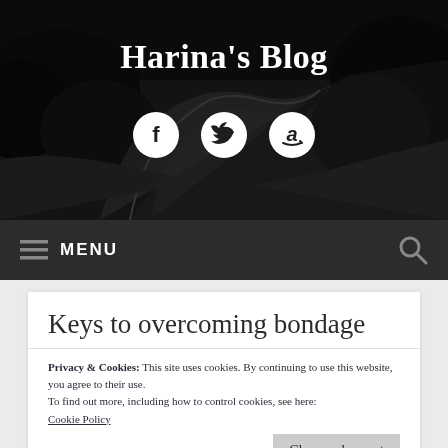[Figure (photo): Black and white photograph of a winding road through dark trees, used as blog header background]
Harina's Blog
[Figure (infographic): Social media icons: Facebook, Twitter, Amazon in white circles]
≡ MENU
Keys to overcoming bondage
Privacy & Cookies: This site uses cookies. By continuing to use this website, you agree to their use.
To find out more, including how to control cookies, see here: Cookie Policy
Close and accept